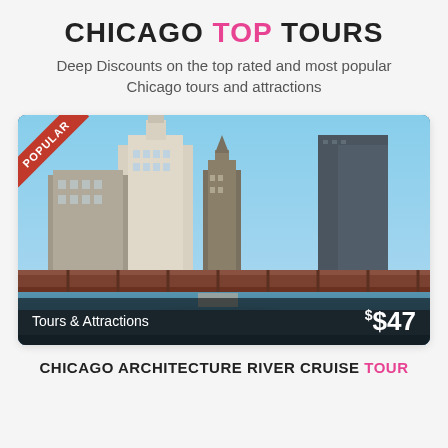CHICAGO TOP TOURS
Deep Discounts on the top rated and most popular Chicago tours and attractions
[Figure (photo): Photo of Chicago architecture skyline with river and elevated train bridge in foreground. A 'POPULAR' ribbon badge is on the upper left. Bottom overlay shows 'Tours & Attractions' on the left and '$$47' price on the right.]
CHICAGO ARCHITECTURE RIVER CRUISE TOUR